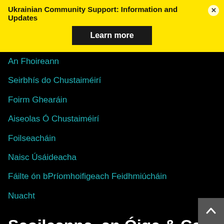Ukrainian Community Support: Information and Updates
An Fhoireann
Seirbhís do Chustaiméirí
Foirm Ghearáin
Aiseolas Ó Chustaiméirí
Foilseacháin
Naisc Úsáideacha
Fáilte ón bPríomhoifigeach Feidhmiúcháin
Nuacht
Scoileanna, an Óige & Ceol
Bunscoileanna
Iarbhunscoileanna